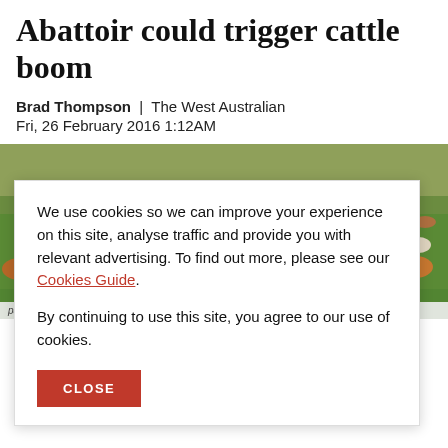Abattoir could trigger cattle boom
Brad Thompson | The West Australian
Fri, 26 February 2016 1:12AM
[Figure (photo): Large herd of cattle grazing on green pasture on Kito Station. Credit: The West Australian]
We use cookies so we can improve your experience on this site, analyse traffic and provide you with relevant advertising. To find out more, please see our Cookies Guide.

By continuing to use this site, you agree to our use of cookies.
pastore on Kito Station. Credit: The West Australian